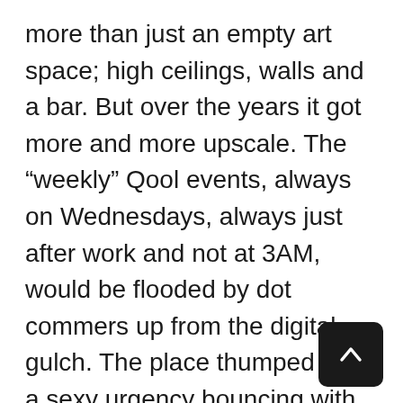more than just an empty art space; high ceilings, walls and a bar. But over the years it got more and more upscale. The “weekly” Qool events, always on Wednesdays, always just after work and not at 3AM, would be flooded by dot commers up from the digital gulch. The place thumped with a sexy urgency bouncing with chilled cocktails and smokin’ rooves. Jondi and Spesh managed to keep the party rolling until well past 911. Money was loose and people were a lot less stressed.